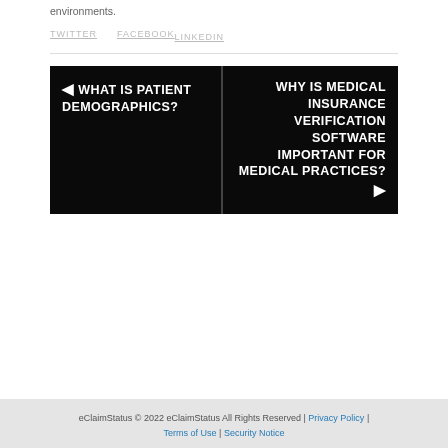environments.
TWITTER   FACEBOOK
LINKEDIN
◀ WHAT IS PATIENT DEMOGRAPHICS?
WHY IS MEDICAL INSURANCE VERIFICATION SOFTWARE IMPORTANT FOR MEDICAL PRACTICES? ▶
eClaimStatus © 2022 eClaimStatus All Rights Reserved | Privacy Policy | Terms of Use | Security Notice